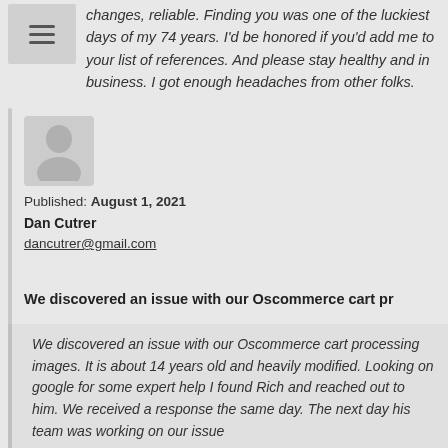changes, reliable. Finding you was one of the luckiest days of my 74 years. I'd be honored if you'd add me to your list of references. And please stay healthy and in business. I got enough headaches from other folks.
[Figure (illustration): Default avatar/user silhouette icon in a grey rounded rectangle]
Published: August 1, 2021
Dan Cutrer
dancutrer@gmail.com
We discovered an issue with our Oscommerce cart pr
We discovered an issue with our Oscommerce cart processing images. It is about 14 years old and heavily modified. Looking on google for some expert help I found Rich and reached out to him. We received a response the same day. The next day his team was working on our issue